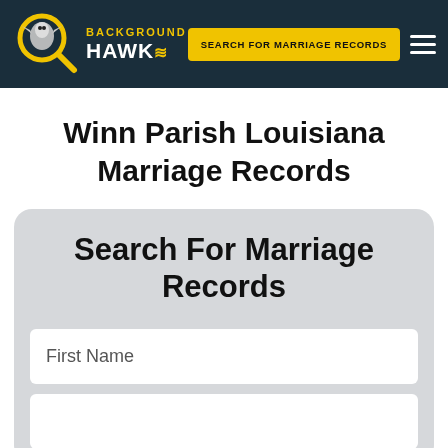BACKGROUND HAWK — SEARCH FOR MARRIAGE RECORDS
Winn Parish Louisiana Marriage Records
Search For Marriage Records
First Name